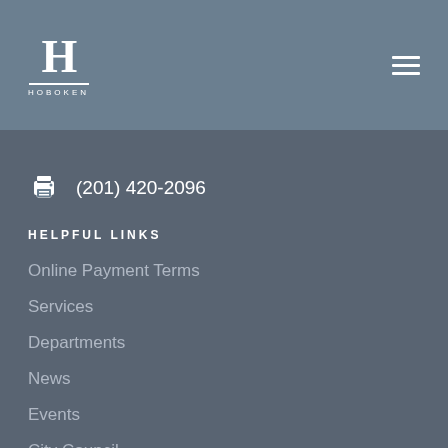Hoboken city logo and navigation header
(201) 420-2096
HELPFUL LINKS
Online Payment Terms
Services
Departments
News
Events
City Council
Contact
QUICK LINKS
Knowledge Base
Events